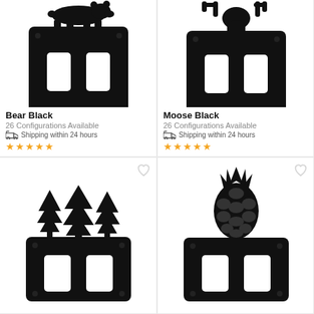[Figure (photo): Bear Black double toggle light switch plate cover in black metal with bear silhouette on top]
Bear Black
26 Configurations Available
Shipping within 24 hours
★★★★★
[Figure (photo): Moose Black double toggle light switch plate cover in black metal with moose silhouette on top]
Moose Black
26 Configurations Available
Shipping within 24 hours
★★★★★
[Figure (photo): Pine trees Black double toggle light switch plate cover in black metal with pine tree silhouettes on top]
[Figure (photo): Pineapple Black double toggle light switch plate cover in black metal with pineapple silhouette on top]